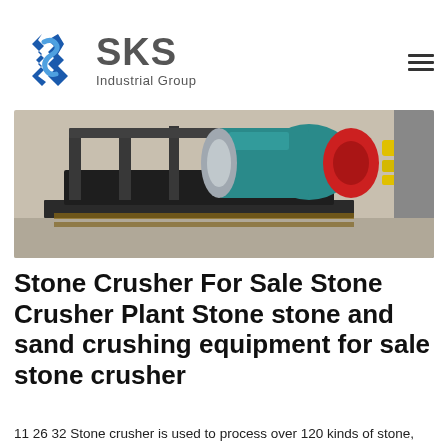[Figure (logo): SKS Industrial Group logo — blue angular bracket/S icon on left, large gray bold 'SKS' text, 'Industrial Group' subtitle below]
[Figure (photo): Industrial electric motor (teal/blue) mounted on a black steel frame/pallet, with a red end cap and yellow cable visible to the right]
Stone Crusher For Sale Stone Crusher Plant Stone stone and sand crushing equipment for sale stone crusher
11 26 32 Stone crusher is used to process over 120 kinds of stone, minerals, ores with varied particle sizes and